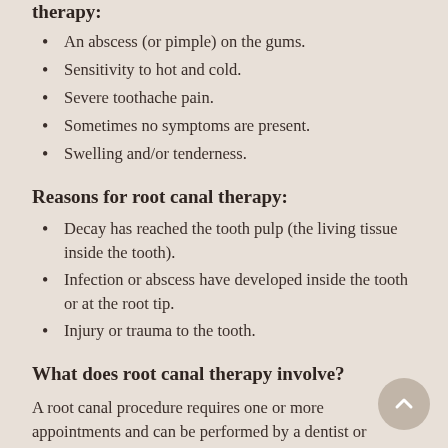therapy:
An abscess (or pimple) on the gums.
Sensitivity to hot and cold.
Severe toothache pain.
Sometimes no symptoms are present.
Swelling and/or tenderness.
Reasons for root canal therapy:
Decay has reached the tooth pulp (the living tissue inside the tooth).
Infection or abscess have developed inside the tooth or at the root tip.
Injury or trauma to the tooth.
What does root canal therapy involve?
A root canal procedure requires one or more appointments and can be performed by a dentist or endodontist (a root canal specialist).